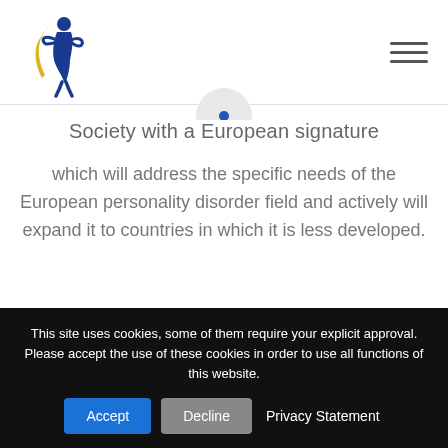[Figure (logo): ESSPD logo with blue figure and yellow accent, text ESSPD below]
[Figure (other): Hamburger/menu icon with three horizontal lines]
Society with a European signature
which will address the specific needs of the European personality disorder field and actively will expand it to countries in which it is less developed.
This site uses cookies, some of them require your explicit approval. Please accept the use of these cookies in order to use all functions of this website.
Accept
Decline
Privacy Statement